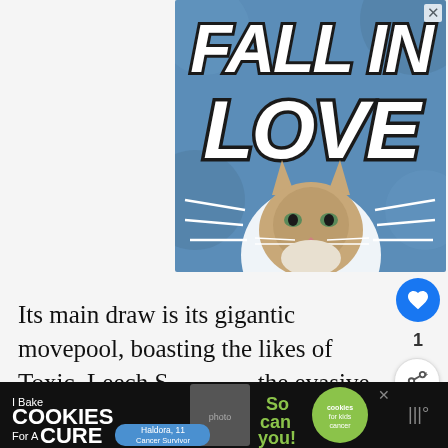[Figure (illustration): Advertisement banner with blue background showing 'FALL IN LOVE' text in large white bold italic letters with a cat photo in the lower center, and a close X button in top right]
Its main draw is its gigantic movepool, boasting the likes of Toxic, Leech S... the evasive Substitute.
[Figure (infographic): WHAT'S NEXT panel: Top 26 Best Rock-Type... with thumbnail]
[Figure (illustration): Bottom advertisement: I Bake COOKIES For A CURE - Haldora, 11 Cancer Survivor - So can you! - cookies for kids cancer logo]